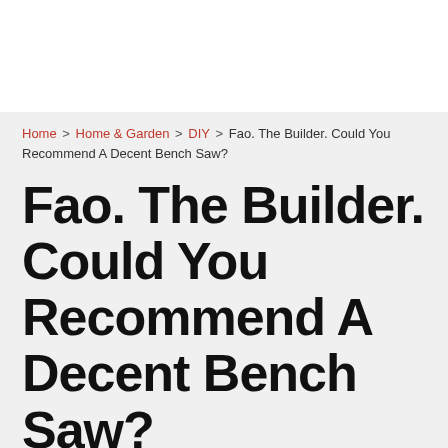Home > Home & Garden > DIY > Fao. The Builder. Could You Recommend A Decent Bench Saw?
Fao. The Builder. Could You Recommend A Decent Bench Saw?
RATTER15 | 19:49 Mon 10th Jun 2013 | DIY
3 Answers